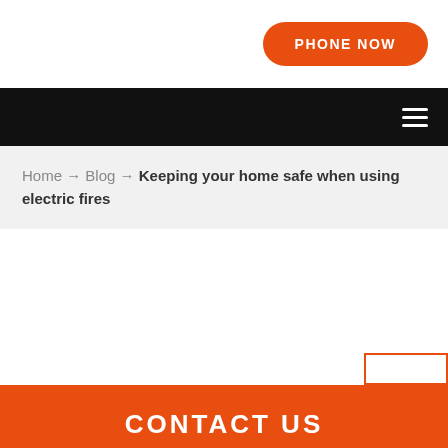PHONE NOW
≡
Home → Blog → Keeping your home safe when using electric fires
CONTACT US